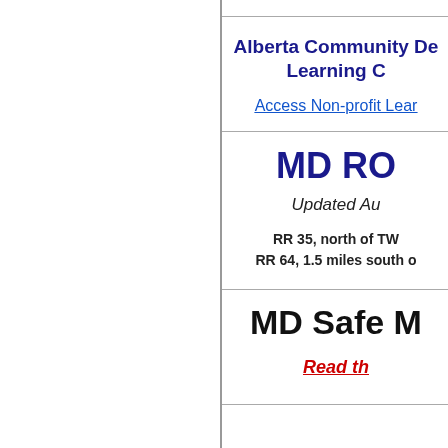Alberta Community De... Learning C...
Access Non-profit Lear...
MD RO...
Updated Au...
RR 35, north of TW...
RR 64, 1.5 miles south o...
MD Safe M...
Read th...